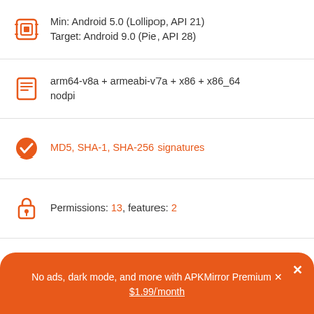Min: Android 5.0 (Lollipop, API 21)
Target: Android 9.0 (Pie, API 28)
arm64-v8a + armeabi-v7a + x86 + x86_64
nodpi
MD5, SHA-1, SHA-256 signatures
Permissions: 13, features: 2
Uploaded October 12, 2020 at 11:41PM GMT+0000 by Nato Boram
Blokada (fdroid version) App Updates
No ads, dark mode, and more with APKMirror Premium ×
$1.99/month